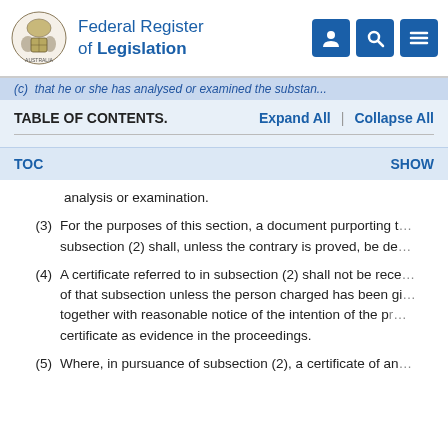Federal Register of Legislation
(c) that he or she has analysed or examined the substan...
TABLE OF CONTENTS.    Expand All  |  Collapse All
TOC    SHOW
analysis or examination.
(3) For the purposes of this section, a document purporting to... subsection (2) shall, unless the contrary is proved, be de...
(4) A certificate referred to in subsection (2) shall not be rece... of that subsection unless the person charged has been gi... together with reasonable notice of the intention of the pr... certificate as evidence in the proceedings.
(5) Where, in pursuance of subsection (2), a certificate of an...